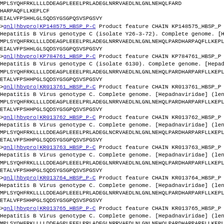MPLSYQHFRKLLLLDDEA GPLEEELPRLADEGLNRRVAEDLNLGNLNEHQLFARD HARPAQFLLKEPLCF
EIALVFPSHHLGLSQDSYGSGPQSVSPGSVY
>gnl|hbvpro|KP148575_HBSP_P-C  Product  feature  CHAIN  KP148575_HBSP_P
Hepatitis B Virus genotype C (isolate Y26-3-72). Complete genome. [Hep
MPLSYQHFRKLLLLDDEAGPLEEELPRLADEGLNRRVAEDLNLGNLNEHQLPARDHARPAQFLLKEPLCF
EIALVFPSHHLGLSQDSYGSGPQSVSPGSVY
>gnl|hbvpro|KP784761_HBSP_P-C  Product  feature  CHAIN  KP784761_HBSP_P
Hepatitis B Virus genotype C (isolate 6130). Complete genome. [Hepadna
MPLSYQHFRKLLLLDDEAGPLEEELPRLADEGLNRRVAEDLNLGNLNEHQLPARDHARPARFLLKEPLCF
ETALVFPSHHPGLSQDSYGSGPQSVSPGSVY
>gnl|hbvpro|KR013761_HBSP_P-C  Product  feature  CHAIN  KR013761_HBSP_P
Hepatitis B Virus genotype C. Complete genome. [Hepadnaviridae] (lengt
MPLSYQHFRKLLLLDDEAGPLEEELPRLADEGLNRRVAEDLNLGNLNEHQLPARDHARPARFLLKEPLCF
ETALVFPSHHPGLSQDSYGSGPQSVSPGSVY
>gnl|hbvpro|KR013762_HBSP_P-C  Product  feature  CHAIN  KR013762_HBSP_P
Hepatitis B Virus genotype C. Complete genome. [Hepadnaviridae] (lengt
MPLSYQHFRKLLLLDDEAGPLEEELPRLADEGLNCRVAEDLNLGNLNEHQLPARDHARPARFLLKEPLCF
ETALVFPSHHPGLSQDSYGSGPQSVSPGSVY
>gnl|hbvpro|KR013763_HBSP_P-C  Product  feature  CHAIN  KR013763_HBSP_P
Hepatitis B Virus genotype C. Complete genome. [Hepadnaviridae] (lengt
MPLSYQHFRKLLLLDDEAGPLEEELPRLADEGLNRRVAEDLNLGNLNEHQLPARDHARPARFLLKEPLCF
ETALVFPSHHPGLSQDSYGSGPQSVSPGSVY
>gnl|hbvpro|KR013764_HBSP_P-C  Product  feature  CHAIN  KR013764_HBSP_P
Hepatitis B Virus genotype C. Complete genome. [Hepadnaviridae] (lengt
MPLSYQHFRKLLLLDDEAGPLEEELPRLADEGLNRRVAEDLNLGNLNEHQLPARDHARPARFLLKEPLCF
ETALVFPSHHPGLSQDSYGSGPQSVSPGSVY
>gnl|hbvpro|KR013765_HBSP_P-C  Product  feature  CHAIN  KR013765_HBSP_P
Hepatitis B Virus genotype C. Complete genome. [Hepadnaviridae] (lengt
MPLSYQHFRKLLLLDDEAGPLEEELPRLADEGLNRRVAEDLNLGNLNEHQLPARDHARPARFLLKEPLCF
ETALVFPSHHPGLSQDSYGSGPQSVSPGSVY